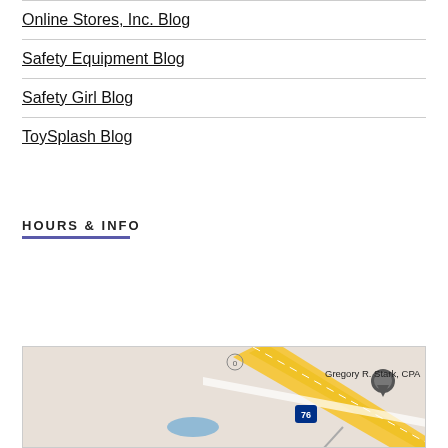Online Stores, Inc. Blog
Safety Equipment Blog
Safety Girl Blog
ToySplash Blog
HOURS & INFO
[Figure (map): Google Maps showing location of Gregory R. Stark, CPA near Interstate 76]